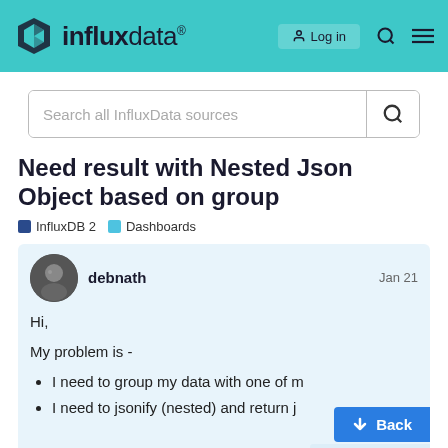influxdata®
Search all InfluxData sources
Need result with Nested Json Object based on group
InfluxDB 2   Dashboards
debnath   Jan 21
Hi,
My problem is -
I need to group my data with one of m
I need to jsonify (nested) and return j
1 / 8